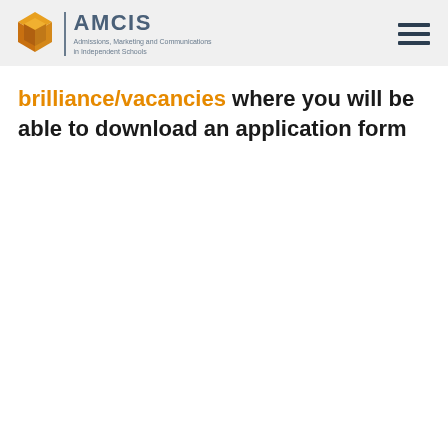AMCIS — Admissions, Marketing and Communications in Independent Schools
brilliance/vacancies where you will be able to download an application form